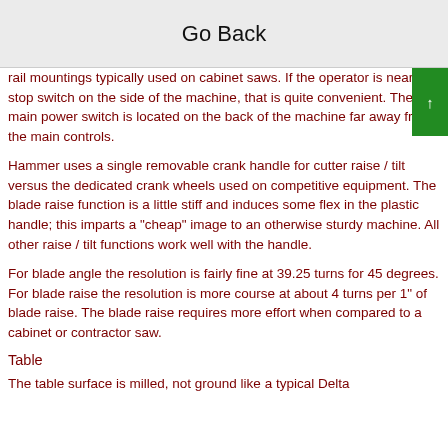Go Back
rail mountings typically used on cabinet saws. If the operator is near the stop switch on the side of the machine, that is quite convenient. The main power switch is located on the back of the machine far away from the main controls.
Hammer uses a single removable crank handle for cutter raise / tilt versus the dedicated crank wheels used on competitive equipment. The blade raise function is a little stiff and induces some flex in the plastic handle; this imparts a "cheap" image to an otherwise sturdy machine. All other raise / tilt functions work well with the handle.
For blade angle the resolution is fairly fine at 39.25 turns for 45 degrees. For blade raise the resolution is more course at about 4 turns per 1" of blade raise. The blade raise requires more effort when compared to a cabinet or contractor saw.
Table
The table surface is milled, not ground like a typical Delta